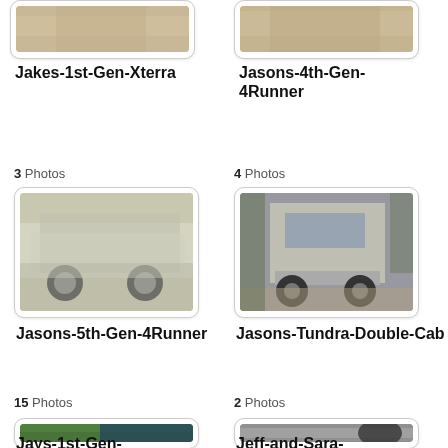[Figure (photo): Partial top image of Jakes-1st-Gen-Xterra album thumbnail]
Jakes-1st-Gen-Xterra
[Figure (photo): Partial top image of Jasons-4th-Gen-4Runner album thumbnail]
Jasons-4th-Gen-4Runner
3 Photos
4 Photos
[Figure (photo): Photo of a silver SUV side view, album Jasons-5th-Gen-4Runner]
Jasons-5th-Gen-4Runner
[Figure (photo): Photo of a silver truck front view on trail, album Jasons-Tundra-Double-Cab]
Jasons-Tundra-Double-Cab
15 Photos
2 Photos
[Figure (photo): Photo of dark green truck side/wheel area, album Jays-1st-Gen-]
Jays-1st-Gen-
[Figure (photo): Photo of vehicle step/running board area, album Jeff-and-Sara-]
Jeff-and-Sara-